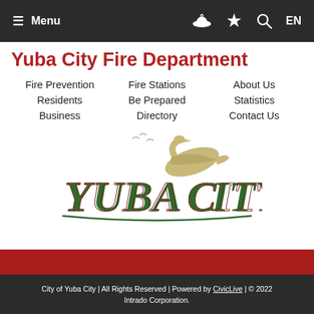☰ Menu  🔥 ✦ 🔍 EN
Yuba City Fire Department
Fire Prevention
Residents
Business
Fire Stations
Be Prepared
Directory
About Us
Statistics
Contact Us
[Figure (logo): Yuba City stylized text logo with bird and stars]
City of Yuba City | All Rights Reserved | Powered by CivicLive | © 2022 Intrado Corporation.